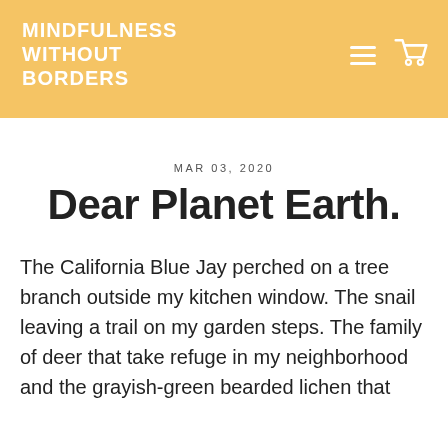MINDFULNESS WITHOUT BORDERS
MAR 03, 2020
Dear Planet Earth.
The California Blue Jay perched on a tree branch outside my kitchen window. The snail leaving a trail on my garden steps. The family of deer that take refuge in my neighborhood and the grayish-green bearded lichen that